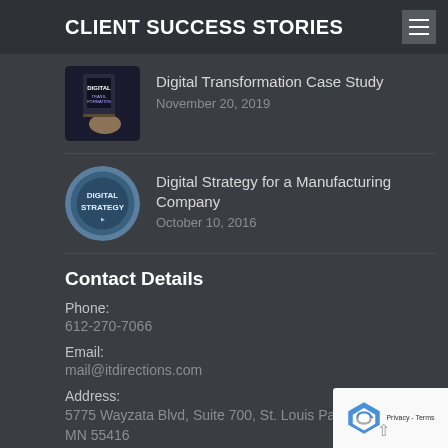CLIENT SUCCESS STORIES
Digital Transformation Case Study
November 20, 2019
Digital Strategy for a Manufacturing Company
October 10, 2016
Contact Details
Phone:
612-270-7066
Email:
mail@itdirections.com
Address:
5775 Wayzata Blvd, Suite 700, St. Louis Park, MN 55416